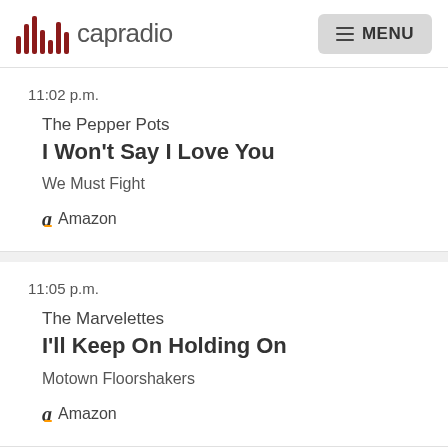capradio   MENU
11:02 p.m.
The Pepper Pots
I Won't Say I Love You
We Must Fight
Amazon
11:05 p.m.
The Marvelettes
I'll Keep On Holding On
Motown Floorshakers
Amazon